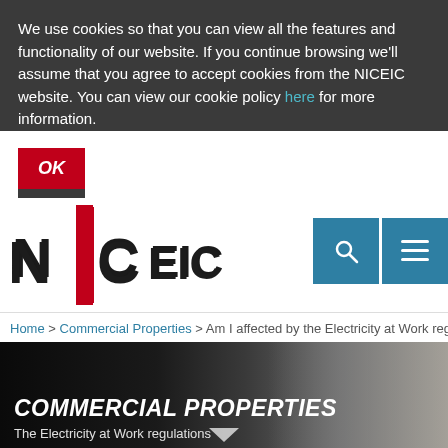We use cookies so that you can view all the features and functionality of our website. If you continue browsing we'll assume that you agree to accept cookies from the NICEIC website. You can view our cookie policy here for more information.
OK
[Figure (logo): NICEIC logo with red and black lettering]
[Figure (infographic): Search icon (magnifying glass) and menu icon (hamburger) in teal/blue square buttons]
Home > Commercial Properties > Am I affected by the Electricity at Work regulations?
[Figure (photo): Hero image of commercial office interior with dark overlay]
COMMERCIAL PROPERTIES
The Electricity at Work regulations